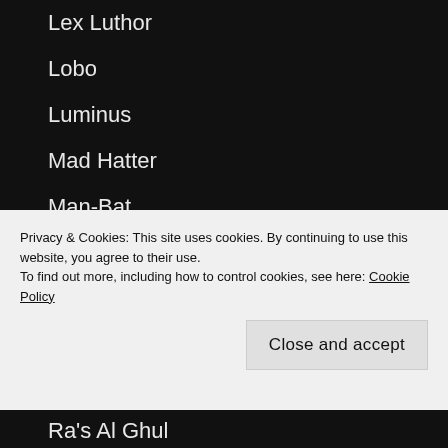Lex Luthor
Lobo
Luminus
Mad Hatter
Man-Bat
Metallo
Mongul
Mr. Freeze
Mr. Mxyzptlk
Privacy & Cookies: This site uses cookies. By continuing to use this website, you agree to their use.
To find out more, including how to control cookies, see here: Cookie Policy
Ra's Al Ghul